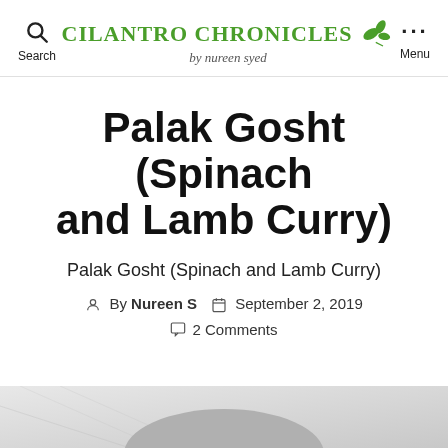Search | Cilantro Chronicles by nureen syed | Menu
Palak Gosht (Spinach and Lamb Curry)
Palak Gosht (Spinach and Lamb Curry)
By Nureen S  September 2, 2019  2 Comments
[Figure (photo): Bottom portion of page showing a bowl or dish, partially visible, on a marble surface]